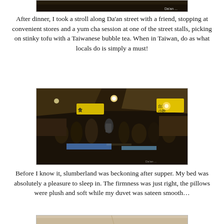[Figure (photo): Partial top of a photo, dark image, top of previous photo visible]
After dinner, I took a stroll along Da'an street with a friend, stopping at convenient stores and a yum cha session at one of the street stalls, picking on stinky tofu with a Taiwanese bubble tea. When in Taiwan, do as what locals do is simply a must!
[Figure (photo): Night market scene in Taiwan, Da'an street, dark evening with illuminated food stalls, yellow signage, people milling around, bright lights overhead]
Before I know it, slumberland was beckoning after supper. My bed was absolutely a pleasure to sleep in. The firmness was just right, the pillows were plush and soft while my duvet was sateen smooth…
[Figure (photo): Partial bottom of a photo showing a hotel room ceiling/room, light beige tones, beginning of next image]